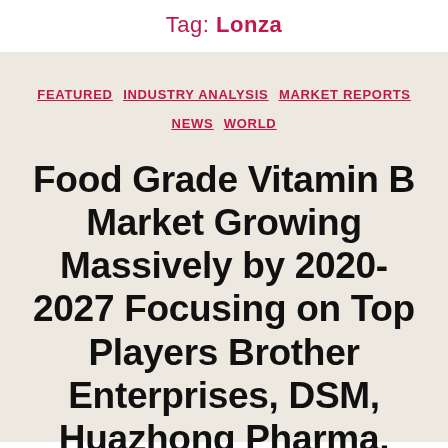Tag: Lonza
FEATURED  INDUSTRY ANALYSIS  MARKET REPORTS  NEWS  WORLD
Food Grade Vitamin B Market Growing Massively by 2020-2027 Focusing on Top Players Brother Enterprises, DSM, Huazhong Pharma,